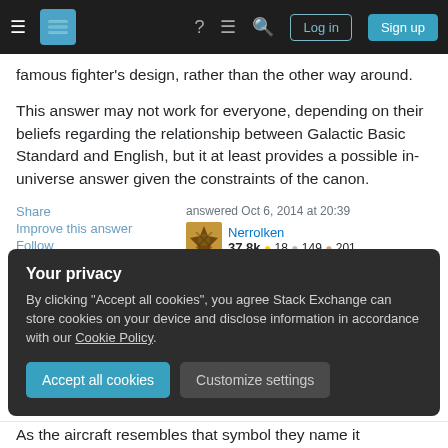Stack Exchange navigation bar with hamburger menu, logo, help, chat, search icons, Log in and Sign up buttons
famous fighter's design, rather than the other way around.
This answer may not work for everyone, depending on their beliefs regarding the relationship between Galactic Basic Standard and English, but it at least provides a possible in-universe answer given the constraints of the canon.
Share
Improve this answer
Follow
answered Oct 6, 2014 at 20:39
Nerrolken
37.8k 🔥 18 🔥 149 🔥 201
Your privacy
By clicking "Accept all cookies", you agree Stack Exchange can store cookies on your device and disclose information in accordance with our Cookie Policy.
Accept all cookies
Customize settings
As the aircraft resembles that symbol they name it